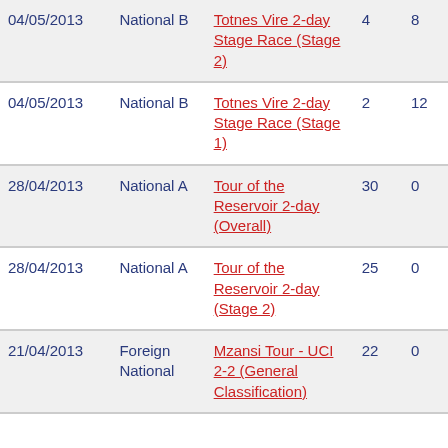| Date | Category | Race | Pos | Pts |
| --- | --- | --- | --- | --- |
| 04/05/2013 | National B | Totnes Vire 2-day Stage Race (Stage 2) | 4 | 8 |
| 04/05/2013 | National B | Totnes Vire 2-day Stage Race (Stage 1) | 2 | 12 |
| 28/04/2013 | National A | Tour of the Reservoir 2-day (Overall) | 30 | 0 |
| 28/04/2013 | National A | Tour of the Reservoir 2-day (Stage 2) | 25 | 0 |
| 21/04/2013 | Foreign National | Mzansi Tour - UCI 2-2 (General Classification) | 22 | 0 |